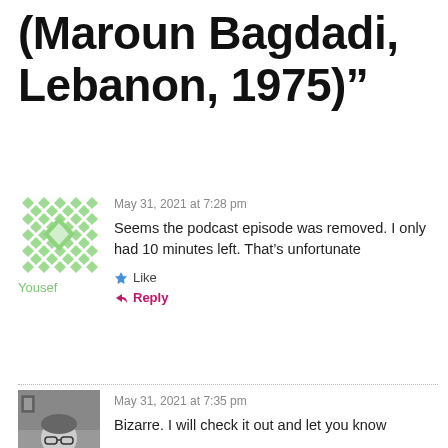(Maroun Bagdadi, Lebanon, 1975)”
May 31, 2021 at 7:28 pm
Seems the podcast episode was removed. I only had 10 minutes left. That’s unfortunate
Like
Reply
May 31, 2021 at 7:35 pm
Bizarre. I will check it out and let you know